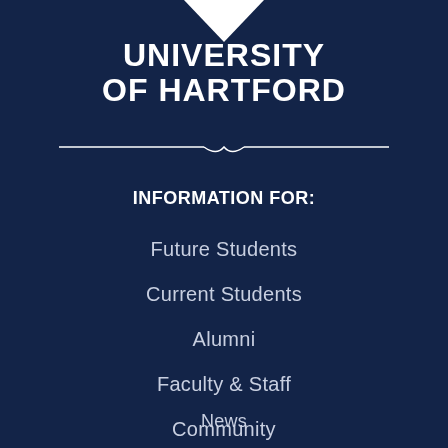[Figure (logo): University of Hartford logo chevron/shield mark at top center]
UNIVERSITY OF HARTFORD
INFORMATION FOR:
Future Students
Current Students
Alumni
Faculty & Staff
Community
News